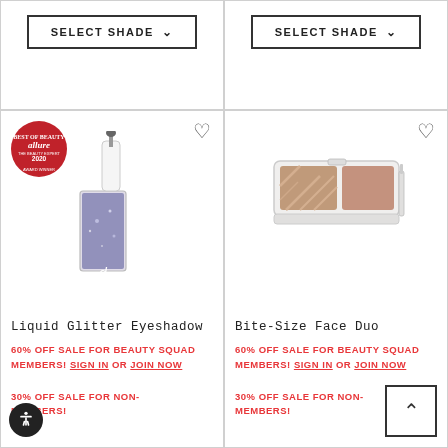[Figure (screenshot): SELECT SHADE button with dropdown chevron, top-left product cell]
[Figure (screenshot): SELECT SHADE button with dropdown chevron, top-right product cell]
[Figure (photo): Liquid Glitter Eyeshadow product image with Allure Best of Beauty 2020 badge and heart icon]
Liquid Glitter Eyeshadow
60% OFF SALE FOR BEAUTY SQUAD MEMBERS! SIGN IN OR JOIN NOW
30% OFF SALE FOR NON-MEMBERS!
[Figure (photo): Bite-Size Face Duo product image with heart icon]
Bite-Size Face Duo
60% OFF SALE FOR BEAUTY SQUAD MEMBERS! SIGN IN OR JOIN NOW
30% OFF SALE FOR NON-MEMBERS!